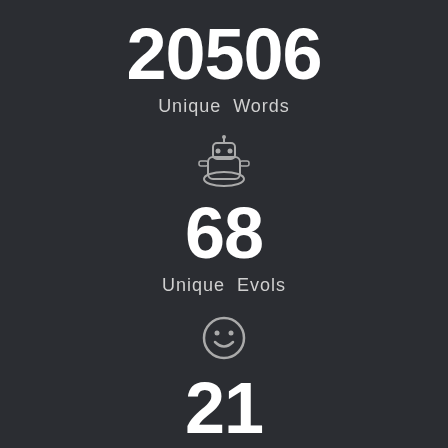20506
Unique Words
[Figure (illustration): A small robot or mascot icon, grayish, centered]
68
Unique Evols
[Figure (illustration): A smiley face circle icon, grayish, centered]
21
Unique Pl...